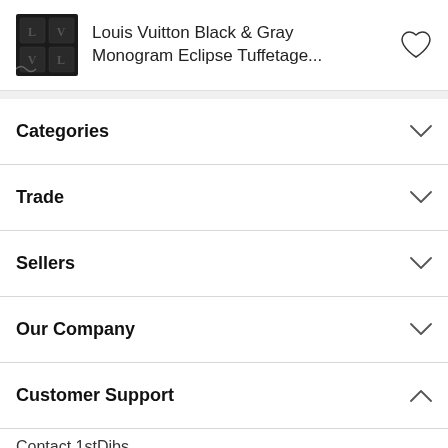[Figure (photo): Small product thumbnail of Louis Vuitton Black & Gray Monogram Eclipse Tuffetage bag]
Louis Vuitton Black & Gray Monogram Eclipse Tuffetage...
Categories
Trade
Sellers
Our Company
Customer Support
Contact 1stDibs
Visit Support Center
1stDibs Promise